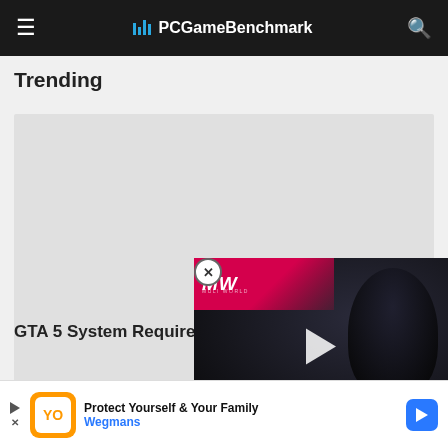PCGameBenchmark
Trending
[Figure (screenshot): Large grey placeholder card area for trending content]
GTA 5 System Requirements
[Figure (screenshot): Second partial trending card placeholder]
[Figure (screenshot): Video overlay: MW logo with pink strip, play button, dark background figure, text EMBRACER GROUP BUY LOTR RIGHTS, close button]
[Figure (screenshot): Bottom advertisement banner: Wegmans - Protect Yourself & Your Family]